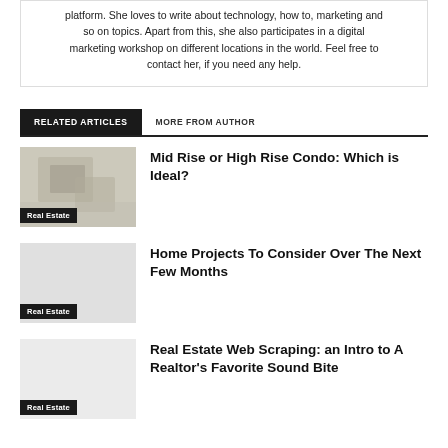platform. She loves to write about technology, how to, marketing and so on topics. Apart from this, she also participates in a digital marketing workshop on different locations in the world. Feel free to contact her, if you need any help.
RELATED ARTICLES    MORE FROM AUTHOR
Mid Rise or High Rise Condo: Which is Ideal?
Real Estate
Home Projects To Consider Over The Next Few Months
Real Estate
Real Estate Web Scraping: an Intro to A Realtor's Favorite Sound Bite
Real Estate